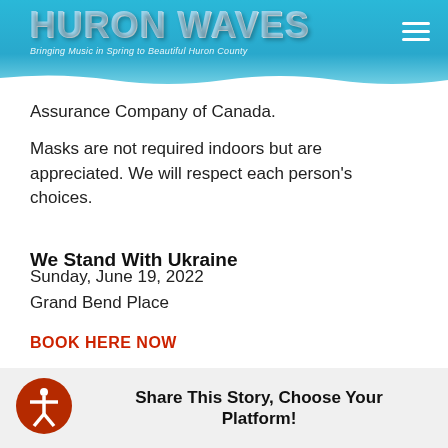HURON WAVES — Bringing Music in Spring to Beautiful Huron County
Assurance Company of Canada.
Masks are not required indoors but are appreciated. We will respect each person's choices.
We Stand With Ukraine
Sunday, June 19, 2022
Grand Bend Place
BOOK HERE NOW
Share This Story, Choose Your Platform!